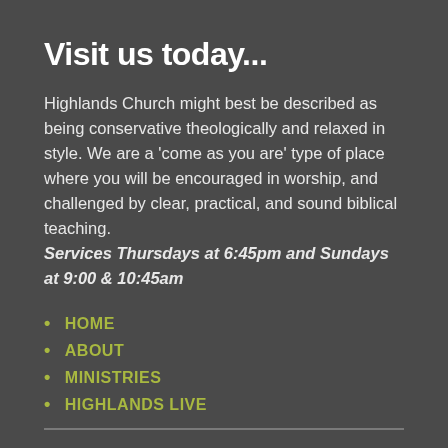Visit us today...
Highlands Church might best be described as being conservative theologically and relaxed in style. We are a 'come as you are' type of place where you will be encouraged in worship, and challenged by clear, practical, and sound biblical teaching.
Services Thursdays at 6:45pm and Sundays at 9:00 & 10:45am
HOME
ABOUT
MINISTRIES
HIGHLANDS LIVE